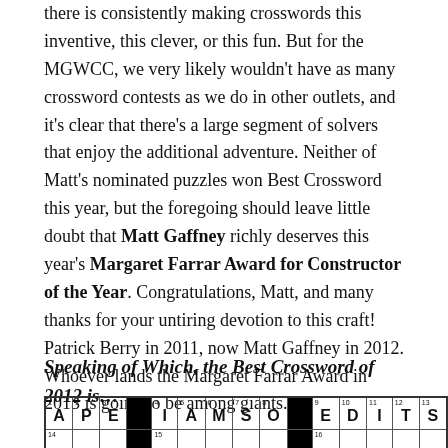there is consistently making crosswords this inventive, this clever, or this fun. But for the MGWCC, we very likely wouldn't have as many crossword contests as we do in other outlets, and it's clear that there's a large segment of solvers that enjoy the additional adventure. Neither of Matt's nominated puzzles won Best Crossword this year, but the foregoing should leave little doubt that Matt Gaffney richly deserves this year's Margaret Farrar Award for Constructor of the Year. Congratulations, Matt, and many thanks for your untiring devotion to this craft! Patrick Berry in 2011, now Matt Gaffney in 2012. Whoever lands the Margaret Farrar Award in 2013 is going to be among giants.
Speaking of Which, the Best Crossword of 2012 is…
[Figure (other): Partial crossword puzzle grid showing row with letters A P E [black] I A M S O [black] E D I T S and partial second row below]